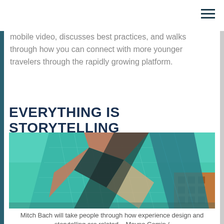☰ (hamburger menu icon)
mobile video, discusses best practices, and walks through how you can connect with more younger travelers through the rapidly growing platform.
EVERYTHING IS STORYTELLING
[Figure (photo): Photograph of a modern architectural building with angular geometric glass facade panels in teal/turquoise and copper/rust tones against a clear blue sky, with another brick building visible in the background.]
Mitch Bach will take people through how experience design and storytelling are related... Mayne Comin /